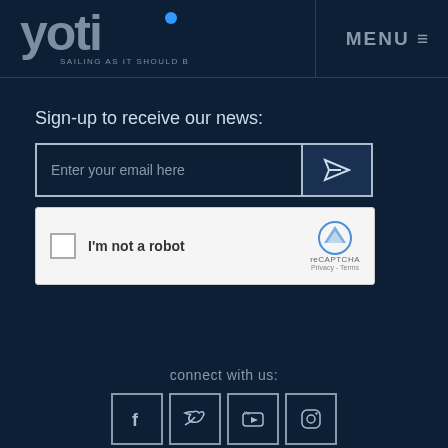[Figure (logo): Yoti sailing logo with text 'SAILING AS IT SHOULD BE']
MENU ≡
Sign-up to receive our news:
[Figure (screenshot): Email signup form with input box 'Enter your email here' and send button, plus reCAPTCHA 'I'm not a robot' widget]
connect with us:
[Figure (infographic): Social media icons: Facebook, Twitter, YouTube, Instagram]
2022 Copyright © Yoti. Powered by Boat Deck